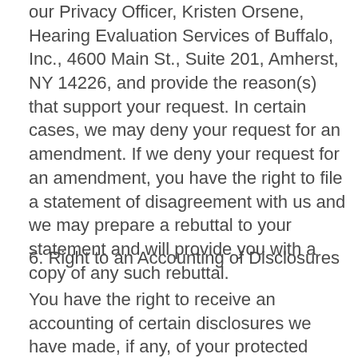our Privacy Officer, Kristen Orsene, Hearing Evaluation Services of Buffalo, Inc., 4600 Main St., Suite 201, Amherst, NY 14226, and provide the reason(s) that support your request. In certain cases, we may deny your request for an amendment. If we deny your request for an amendment, you have the right to file a statement of disagreement with us and we may prepare a rebuttal to your statement and will provide you with a copy of any such rebuttal.
6. Right to an Accounting of Disclosures
You have the right to receive an accounting of certain disclosures we have made, if any, of your protected health information. This right applies to disclosures for purposes other than treatment, payment, or health care operations.